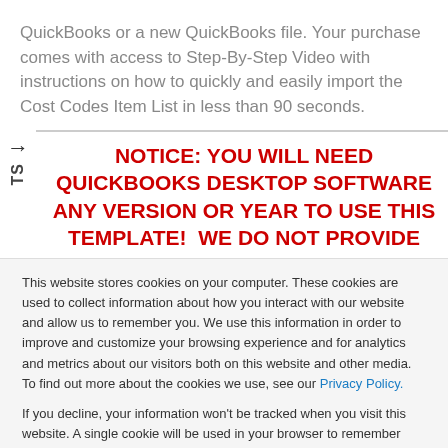QuickBooks or a new QuickBooks file. Your purchase comes with access to Step-By-Step Video with instructions on how to quickly and easily import the Cost Codes Item List in less than 90 seconds.
NOTICE: YOU WILL NEED QUICKBOOKS DESKTOP SOFTWARE ANY VERSION OR YEAR TO USE THIS TEMPLATE!  WE DO NOT PROVIDE ANY
This website stores cookies on your computer. These cookies are used to collect information about how you interact with our website and allow us to remember you. We use this information in order to improve and customize your browsing experience and for analytics and metrics about our visitors both on this website and other media. To find out more about the cookies we use, see our Privacy Policy.
If you decline, your information won't be tracked when you visit this website. A single cookie will be used in your browser to remember your preference not to be tracked.
Accept
Decline